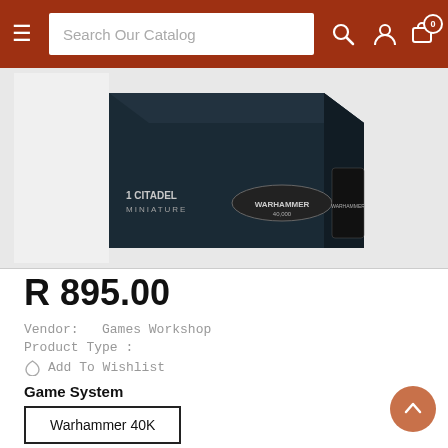Search Our Catalog
[Figure (photo): Dark navy product box for a Warhammer 40K Citadel Miniature, showing the box at an angle with '1 Citadel Miniature' and 'Warhammer 40000' branding visible.]
R 895.00
Vendor:   Games Workshop
Product Type :
Add To Wishlist
Game System
Warhammer 40K
Fraction